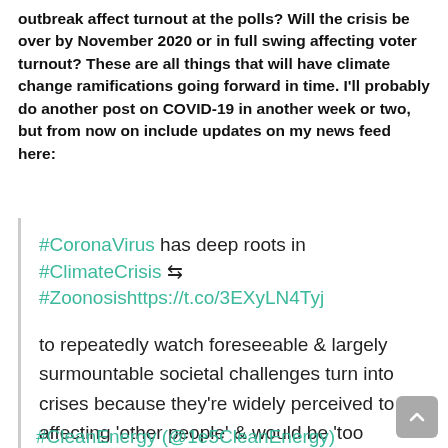outbreak affect turnout at the polls? Will the crisis be over by November 2020 or in full swing affecting voter turnout? These are all things that will have climate change ramifications going forward in time. I'll probably do another post on COVID-19 in another week or two, but from now on include updates on my news feed here:
#CoronaVirus has deep roots in #ClimateCrisis ⇄ #Zoonosishttps://t.co/3EXyLN4Tyj

to repeatedly watch foreseeable & largely surmountable societal challenges turn into crises because they're widely perceived to be affecting 'other people' & would be 'too expensive' to address

#CleanEnergy (@1e5CleanEnergy)